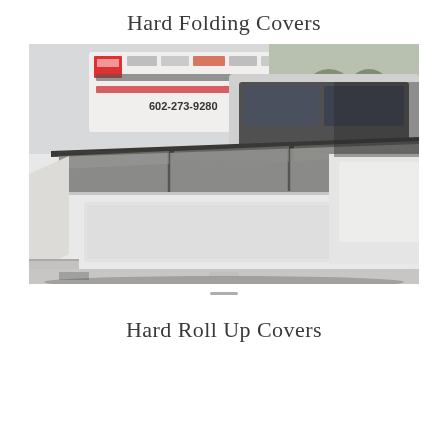Hard Folding Covers
[Figure (photo): Photo of a white Ford pickup truck with a hard folding tonneau cover on the truck bed, parked in front of a truck bed covers shop sign showing phone number 602-273-9280.]
Hard Roll Up Covers